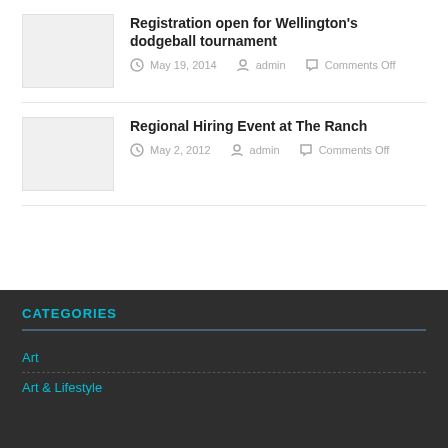Registration open for Wellington's dodgeball tournament
May 19, 2014  admin  Comments Off
Regional Hiring Event at The Ranch
May 2, 2012  admin  Comments Off
CATEGORIES
Art
Art & Lifestyle